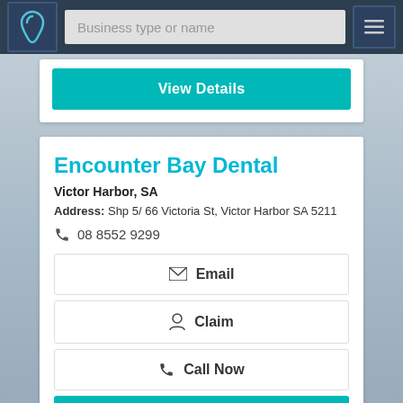[Figure (screenshot): Navigation bar with dental logo, search input placeholder 'Business type or name', and hamburger menu icon on dark blue background]
View Details
Encounter Bay Dental
Victor Harbor, SA
Address: Shp 5/ 66 Victoria St, Victor Harbor SA 5211
08 8552 9299
Email
Claim
Call Now
View Details